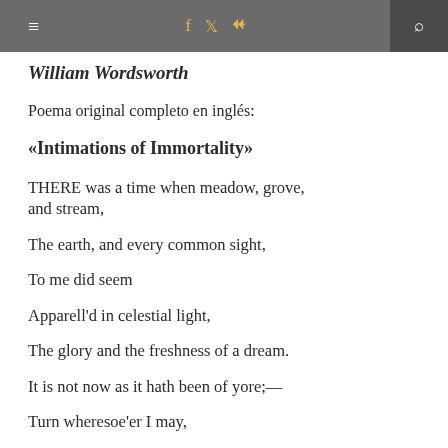≡  f  🐦  ☵  🔍
William Wordsworth
Poema original completo en inglés:
«Intimations of Immortality»
THERE was a time when meadow, grove, and stream,
The earth, and every common sight,
To me did seem
Apparell'd in celestial light,
The glory and the freshness of a dream.
It is not now as it hath been of yore;—
Turn wheresoe'er I may,
By night or day,
The things which I have seen I now can